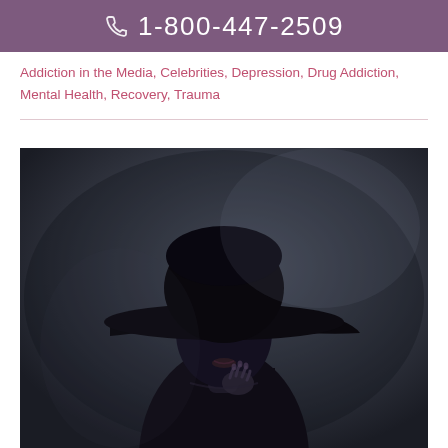1-800-447-2509
Addiction in the Media, Celebrities, Depression, Drug Addiction, Mental Health, Recovery, Trauma
[Figure (photo): Dark artistic portrait of a woman silhouetted against a dark blue-grey background, wearing a large wide-brimmed black hat that covers her eyes, with her hand raised near her chin. The image has a dramatic, moody aesthetic with deep contrast.]